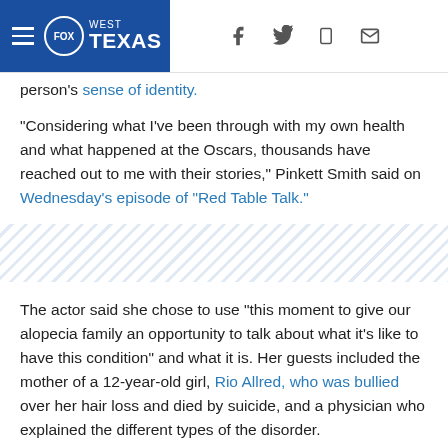FOX WEST TEXAS (navigation header with social icons)
person's sense of identity.
“Considering what I’ve been through with my own health and what happened at the Oscars, thousands have reached out to me with their stories,” Pinkett Smith said on Wednesday’s episode of “Red Table Talk.”
[Figure (other): Diagonal hatched/striped decorative divider band]
The actor said she chose to use “this moment to give our alopecia family an opportunity to talk about what it’s like to have this condition” and what it is. Her guests included the mother of a 12-year-old girl, Rio Allred, who was bullied over her hair loss and died by suicide, and a physician who explained the different types of the disorder.
Before tackling the subject, Pinkett Smith addressed events